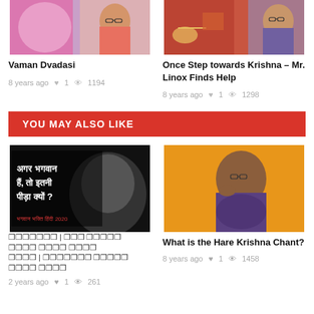[Figure (photo): Thumbnail image for Vaman Dvadasi article showing a woman in pink saree with Hindu deity artwork in background]
Vaman Dvadasi
8 years ago  ♥ 1  👁 1194
[Figure (photo): Thumbnail image for 'Once Step towards Krishna – Mr. Linox Finds Help' showing a woman in purple saree with chariot artwork]
Once Step towards Krishna – Mr. Linox Finds Help
8 years ago  ♥ 1  👁 1298
YOU MAY ALSO LIKE
[Figure (photo): Thumbnail with Hindi text 'अगर भगवान हैं, तो इतनी पीड़ा क्यों?' overlaid on black-and-white image of crying girl]
अगर भगवान | अगर भगवान हैं तो इतनी पीड़ा क्यों? | भगवान भक्ति हमारे देश
2 years ago  ♥ 1  👁 261
[Figure (photo): Thumbnail of woman in patterned top thinking, against orange background]
What is the Hare Krishna Chant?
8 years ago  ♥ 1  👁 1458